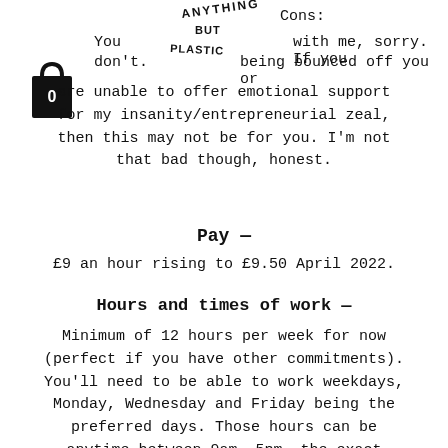[Figure (illustration): Handwritten decorative text reading ANYTHING BUT PLASTIC arranged in a stacked angled style]
Cons: You … with me, sorry. If you don't … being bounced off you or are unable to offer emotional support for my insanity/entrepreneurial zeal, then this may not be for you. I'm not that bad though, honest.
[Figure (illustration): Black shopping bag icon with a 0 on it]
Pay —
£9 an hour rising to £9.50 April 2022.
Hours and times of work —
Minimum of 12 hours per week for now (perfect if you have other commitments). You'll need to be able to work weekdays, Monday, Wednesday and Friday being the preferred days. Those hours can be anytime between 9am- 5pm, the exact times you come in and split of hours